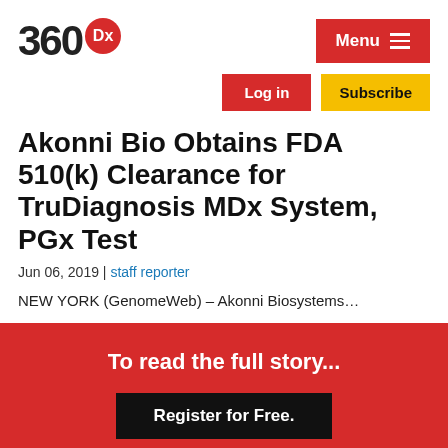360Dx
Menu
Log in
Subscribe
Akonni Bio Obtains FDA 510(k) Clearance for TruDiagnosis MDx System, PGx Test
Jun 06, 2019 | staff reporter
NEW YORK (GenomeWeb) – Akonni Biosystems…
To read the full story...
Register for Free.
…and receive Daily News bulletins.